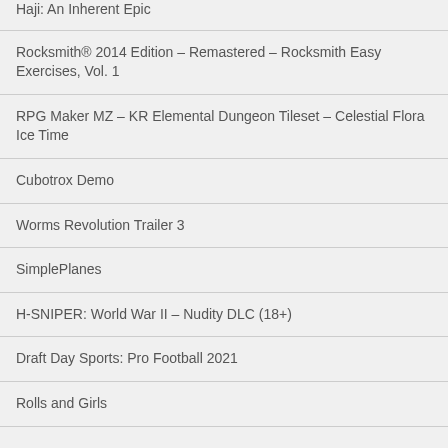Haji: An Inherent Epic
Rocksmith® 2014 Edition – Remastered – Rocksmith Easy Exercises, Vol. 1
RPG Maker MZ – KR Elemental Dungeon Tileset – Celestial Flora Ice Time
Cubotrox Demo
Worms Revolution Trailer 3
SimplePlanes
H-SNIPER: World War II – Nudity DLC (18+)
Draft Day Sports: Pro Football 2021
Rolls and Girls